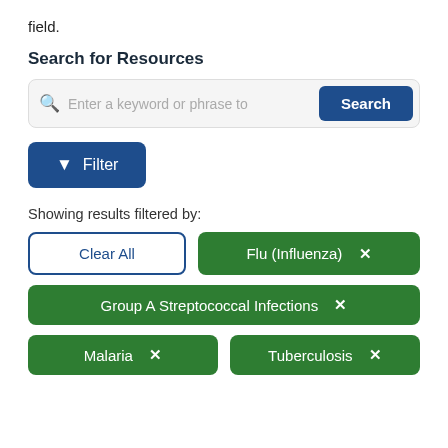field.
Search for Resources
[Figure (screenshot): Search input box with magnifying glass icon, placeholder text 'Enter a keyword or phrase to', and a dark blue Search button]
[Figure (screenshot): Dark blue Filter button with funnel/filter icon and text 'Filter']
Showing results filtered by:
Clear All
Flu (Influenza) ×
Group A Streptococcal Infections ×
Malaria ×
Tuberculosis ×